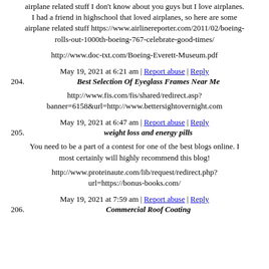airplane related stuff I don't know about you guys but I love airplanes. I had a friend in highschool that loved airplanes, so here are some airplane related stuff https://www.airlinereporter.com/2011/02/boeing-rolls-out-1000th-boeing-767-celebrate-good-times/
http://www.doc-txt.com/Boeing-Everett-Museum.pdf
May 19, 2021 at 6:21 am | Report abuse | Reply
204. Best Selection Of Eyeglass Frames Near Me
http://www.fis.com/fis/shared/redirect.asp?banner=6158&url=http://www.bettersightovernight.com
May 19, 2021 at 6:47 am | Report abuse | Reply
205. weight loss and energy pills
You need to be a part of a contest for one of the best blogs online. I most certainly will highly recommend this blog!
http://www.proteinaute.com/lib/request/redirect.php?url=https://bonus-books.com/
May 19, 2021 at 7:59 am | Report abuse | Reply
206. Commercial Roof Coating